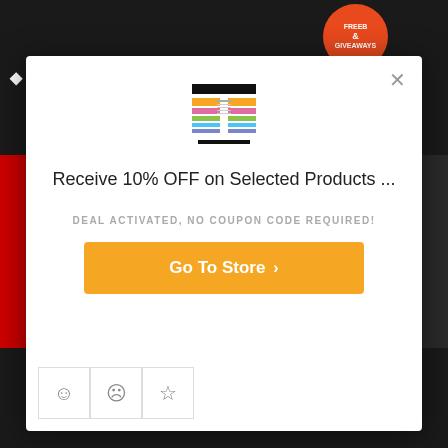[Figure (screenshot): Dark background with Swarovski branding and orange freebies & giveaways badge]
[Figure (illustration): Modal dialog with product thumbnail icon showing rainbow-colored items]
Receive 10% OFF on Selected Products ...
DEAL ACTIVATED, NO COUPON CODE REQUIRED!
Go To Store >
[Figure (illustration): Rating icons: smiley face, sad face, star]
Copyright ©2022 Abaptive. All Rights Reserved. WordPress Coupon Theme by CouponThemes.net